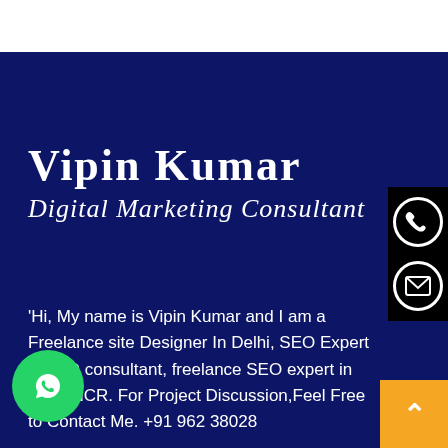Vipin Kumar
Digital Marketing Consultant
'Hi, My name is Vipin Kumar and I am a Freelance site Designer In Delhi, SEO Expert & SEO consultant, freelance SEO expert in Delhi NCR. For Project Discussion,Feel Free to Contact Me. +91 962 38028
[Figure (infographic): Phone icon circle button on black background]
[Figure (infographic): Email/envelope icon circle button on black background]
[Figure (logo): WhatsApp green circle button with WhatsApp logo]
[Figure (infographic): Orange scroll-to-top button with up arrow]